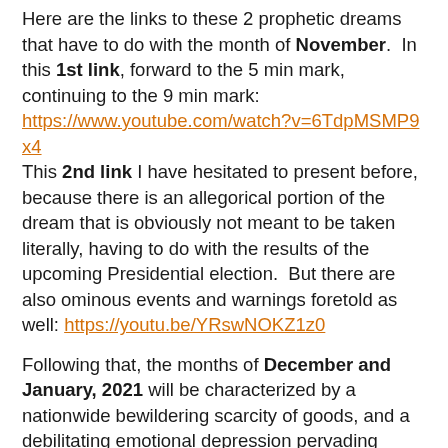Here are the links to these 2 prophetic dreams that have to do with the month of November. In this 1st link, forward to the 5 min mark, continuing to the 9 min mark: https://www.youtube.com/watch?v=6TdpMSMP9x4 This 2nd link I have hesitated to present before, because there is an allegorical portion of the dream that is obviously not meant to be taken literally, having to do with the results of the upcoming Presidential election. But there are also ominous events and warnings foretold as well: https://youtu.be/YRswNOKZ1z0
Following that, the months of December and January, 2021 will be characterized by a nationwide bewildering scarcity of goods, and a debilitating emotional depression pervading throughout the land. We are in the Last Days; time is moving very quickly, and we are drawing near! Here is a link to the prophetic dream that has to do with the months of December and January, 2021. They foretell exceedingly dire and ominous events that will